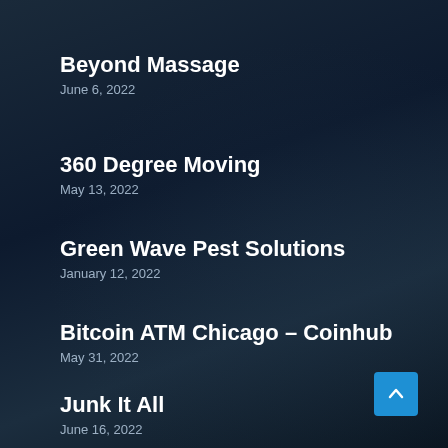Beyond Massage
June 6, 2022
360 Degree Moving
May 13, 2022
Green Wave Pest Solutions
January 12, 2022
Bitcoin ATM Chicago – Coinhub
May 31, 2022
Junk It All
June 16, 2022